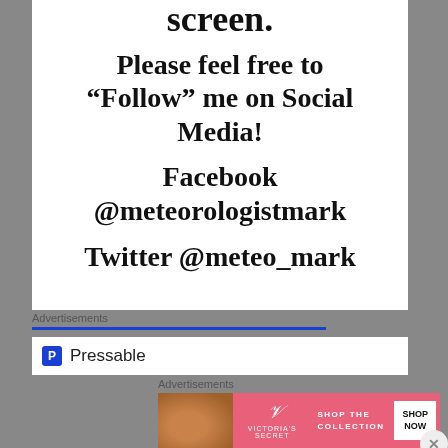screen.
Please feel free to “Follow” me on Social Media!
Facebook @meteorologistmark
Twitter @meteo_mark
Advertisements
Pressable
Advertisements
[Figure (illustration): Victoria's Secret advertisement banner with a woman, VS logo, 'SHOP THE COLLECTION' text, and 'SHOP NOW' button]